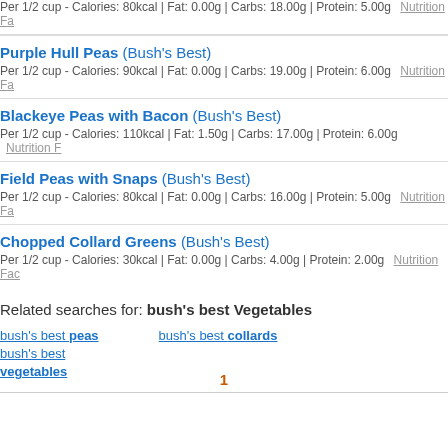Per 1/2 cup - Calories: 80kcal | Fat: 0.00g | Carbs: 18.00g | Protein: 5.00g   Nutrition Fa...
Purple Hull Peas  (Bush's Best)
Per 1/2 cup - Calories: 90kcal | Fat: 0.00g | Carbs: 19.00g | Protein: 6.00g   Nutrition Fa...
Blackeye Peas with Bacon  (Bush's Best)
Per 1/2 cup - Calories: 110kcal | Fat: 1.50g | Carbs: 17.00g | Protein: 6.00g   Nutrition F...
Field Peas with Snaps  (Bush's Best)
Per 1/2 cup - Calories: 80kcal | Fat: 0.00g | Carbs: 16.00g | Protein: 5.00g   Nutrition Fa...
Chopped Collard Greens  (Bush's Best)
Per 1/2 cup - Calories: 30kcal | Fat: 0.00g | Carbs: 4.00g | Protein: 2.00g   Nutrition Fac...
Related searches for: bush's best Vegetables
bush's best peas
bush's best collards
bush's best vegetables
1